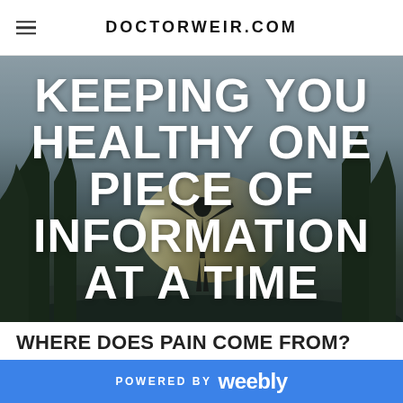DOCTORWEIR.COM
[Figure (photo): Person with arms raised against a sunset sky, overlaid with large white bold text reading KEEPING YOU HEALTHY ONE PIECE OF INFORMATION AT A TIME]
WHERE DOES PAIN COME FROM?
9/30/2016   0 COMMENTS
POWERED BY weebly